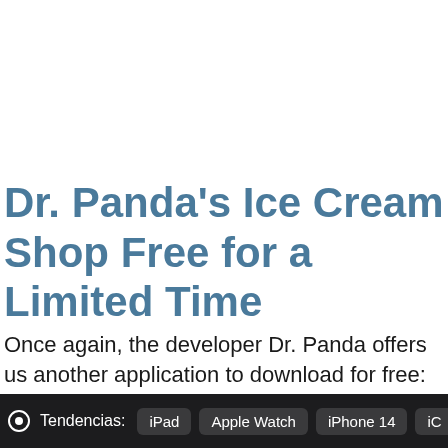Dr. Panda's Ice Cream Shop Free for a Limited Time
Once again, the developer Dr. Panda offers us another application to download for free: Dr. Panda's Ice Cream Shop
Tendencias: iPad  Apple Watch  iPhone 14  iC…